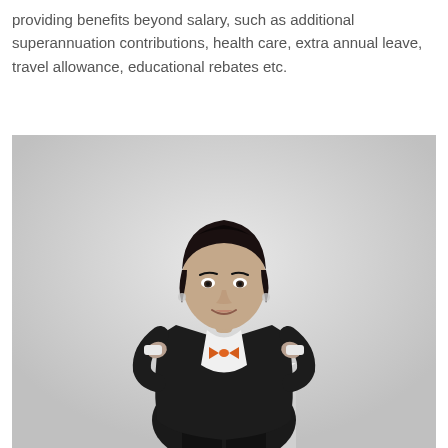providing benefits beyond salary, such as additional superannuation contributions, health care, extra annual leave, travel allowance, educational rebates etc.
[Figure (photo): Black and white professional portrait of a woman in a dark business suit and white shirt, wearing an orange bow tie, seated on a white cube, smiling at the camera against a light grey background.]